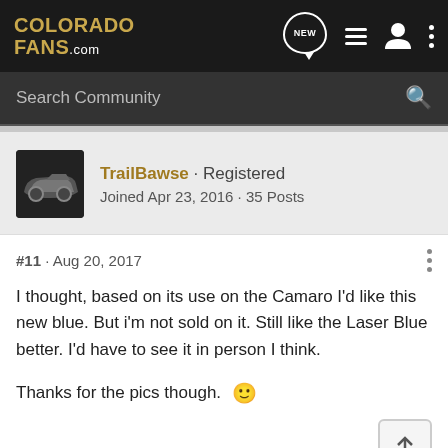COLORADO FANS.com
Search Community
TrailBawse · Registered
Joined Apr 23, 2016 · 35 Posts
#11 · Aug 20, 2017
I thought, based on its use on the Camaro I'd like this new blue. But i'm not sold on it. Still like the Laser Blue better. I'd have to see it in person I think.

Thanks for the pics though. 🙂
Cam H. - Edmonton, AB